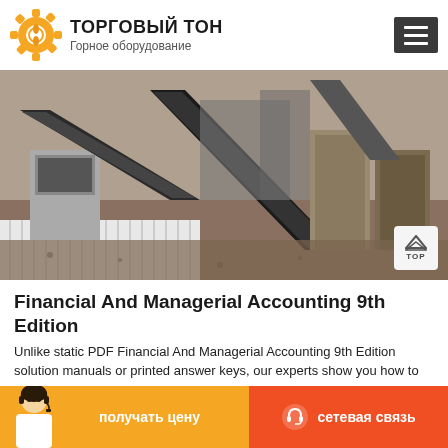ТОРГОВЫЙ ТОН — Горное оборудование
[Figure (photo): Outdoor mining/crushing equipment facility with conveyor belts, machinery, and industrial structures on a dusty site.]
Financial And Managerial Accounting 9th Edition
Unlike static PDF Financial And Managerial Accounting 9th Edition solution manuals or printed answer keys, our experts show you how to solve each problem step-by-step. No need to wait for office hours
[Figure (photo): Customer service representative photo and two CTA buttons: получать цену (orange) and сетевая связь (red-orange) with headset icon.]